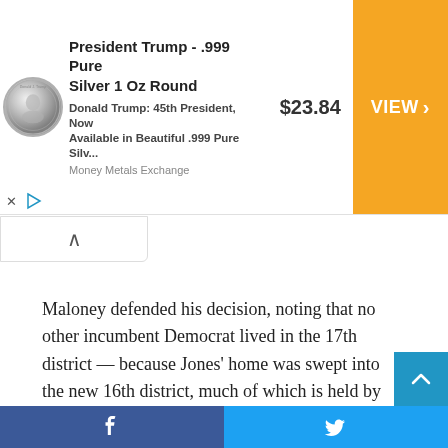[Figure (screenshot): Advertisement banner for President Trump .999 Pure Silver 1 Oz Round coin, showing coin image, product title, price $23.84, and orange VIEW > button. Money Metals Exchange branding.]
Maloney defended his decision, noting that no other incumbent Democrat lived in the 17th district — because Jones' home was swept into the new 16th district, much of which is held by another Democrat, US Rep. Jamaal Bowman.
“From my point of view, I’m just walking where I landed,” Maloney said at a news conference last month.
Jones told the AP he was considering running for office on t